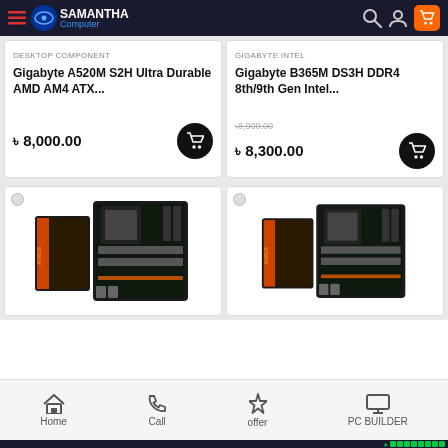Samantha Computer
DESKTOP COMPONENT
Gigabyte A520M S2H Ultra Durable AMD AM4 ATX...
৳ 8,000.00
GIGABYTE INTEL
Gigabyte B365M DS3H DDR4 8th/9th Gen Intel...
৳8,900.00
৳ 8,300.00
[Figure (photo): Gigabyte AORUS motherboard product image with box]
[Figure (photo): Gigabyte AORUS motherboard product image with box]
Home | Call | offer | PC BUILDER